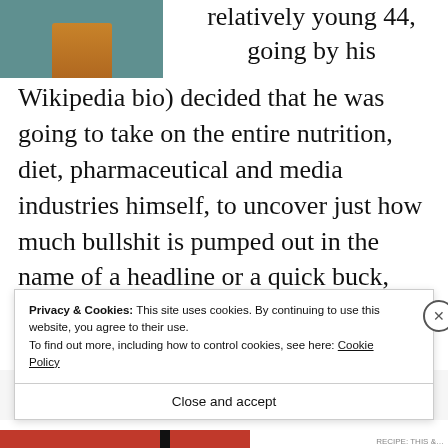[Figure (photo): Book cover image partially visible at top left, showing a bottle on a teal/green background]
relatively young 44, going by his Wikipedia bio) decided that he was going to take on the entire nutrition, diet, pharmaceutical and media industries himself, to uncover just how much bullshit is pumped out in the name of a headline or a quick buck, this is his first book (first published 2008).
Privacy & Cookies: This site uses cookies. By continuing to use this website, you agree to their use.
To find out more, including how to control cookies, see here: Cookie Policy
Close and accept